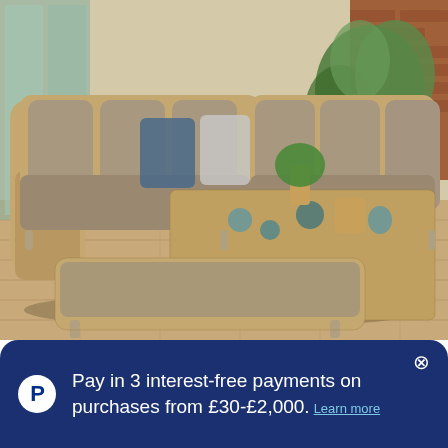[Figure (photo): Outdoor rattan/wicker garden furniture set on a patio — L-shaped corner sofa with grey cushions, a rising table, and a bench/ottoman, all in natural wicker finish. Background shows a brick building and greenery.]
Pay in 3 interest-free payments on purchases from £30-£2,000. Learn more